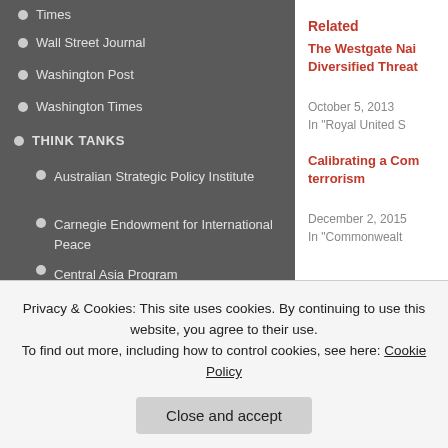Times
Wall Street Journal
Washington Post
Washington Times
THINK TANKS
Australian Strategic Policy Institute
Carnegie Endowment for International Peace
Central Asia Program
Chartered Insurance Institute
Chatham House
CIDOB
Commonwealth
Durham Global Strategy Institute
ECRAN
Related
The Westgate Nai Diversified Threat
October 5, 2013
In "Royal United S
Calibrating a Com terrorism
December 2, 2015
In "Commonwealt
Privacy & Cookies: This site uses cookies. By continuing to use this website, you agree to their use.
To find out more, including how to control cookies, see here: Cookie Policy
Close and accept